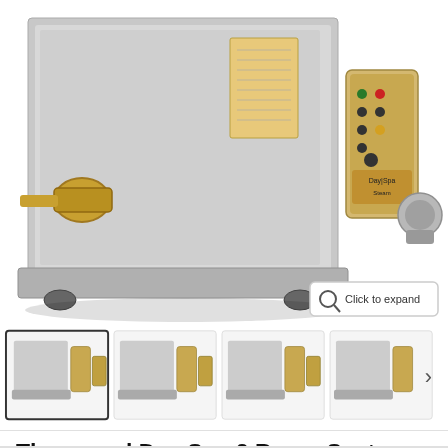[Figure (photo): Main product photo of Thermasol Day Spa 3 Room System DS-3 steam generator unit in stainless steel with brass fittings, shown with remote control and steam head accessories. Thumbnail carousel below with 4 variant images and a right arrow for more.]
Thermasol Day Spa 3 Room System DS-3
by Thermasol
Save $1,233.00  $7,398.00  $6,165.00